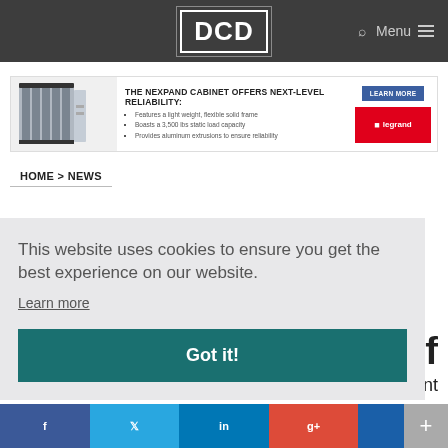DCD | Q Search Menu
[Figure (infographic): Advertisement banner for Legrand Nexpand Cabinet: 'THE NEXPAND CABINET OFFERS NEXT-LEVEL RELIABILITY: Features a light weight, flexible solid frame; Boasts a 3,500 lbs static load capacity; Provides aluminum extrusions to ensure reliability' with LEARN MORE button and Legrand logo on red background.]
HOME > NEWS
Open Network Automation Platform
This website uses cookies to ensure you get the best experience on our website.
Learn more
Got it!
e of
ment